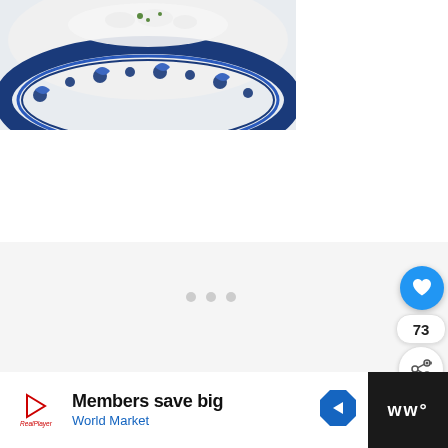[Figure (photo): Close-up of a blue and white decorative plate rim with ornate floral/scroll patterns, with white food (possibly rice or cauliflower) visible at the top edge of the plate.]
[Figure (screenshot): Web page UI elements: heart/like button (blue circle with white heart), count badge showing 73, share button (white circle with share icon), and a What's Next card showing 'Smothered Cabbage w...' truncated text.]
[Figure (screenshot): Advertisement banner: 'Members save big' with 'World Market' subtext, a blue octagon arrow icon, and a dark right panel with WW logo.]